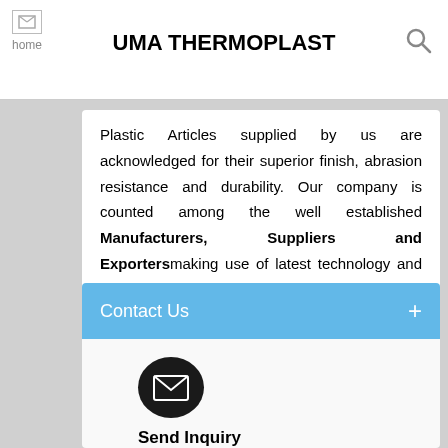UMA THERMOPLAST
Plastic Articles supplied by us are acknowledged for their superior finish, abrasion resistance and durability. Our company is counted among the well established Manufacturers, Suppliers and Exporters making use of latest technology and available resources to offer quality products. Available in variegated size and designs, we can also customize on the special request of customers. Our wide gamut comprises Insulated Water Jug, Cool Water...
Contact Us
[Figure (infographic): Send Inquiry icon with envelope symbol and text label]